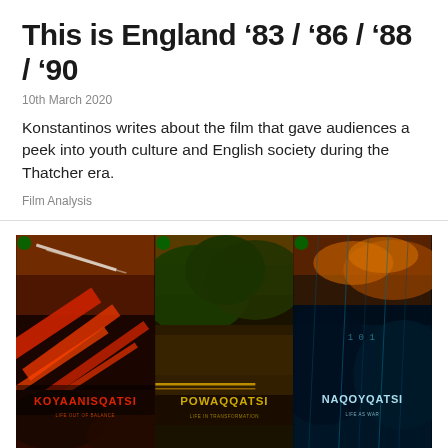This is England ‘83 / ‘86 / ‘88 / ‘90
10th March 2020
Konstantinos writes about the film that gave audiences a peek into youth culture and English society during the Thatcher era.
Film Analysis
[Figure (photo): Three film posters side by side: Koyaanisqatsi (red and earth tones with diagonal red streaks), Powaqqatsi (green forest and brown earth tones), and Naqoyqatsi (blue and teal with rain/digital imagery). All three are Criterion Collection releases.]